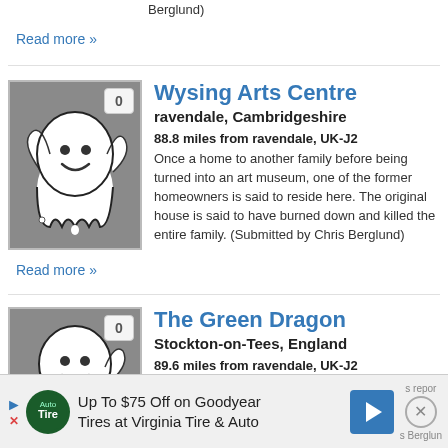Berglund)
Read more »
[Figure (illustration): Ghost illustration on grey background with badge showing 0]
Wysing Arts Centre
ravendale, Cambridgeshire
88.8 miles from ravendale, UK-J2
Once a home to another family before being turned into an art museum, one of the former homeowners is said to reside here. The original house is said to have burned down and killed the entire family. (Submitted by Chris Berglund)
Read more »
[Figure (illustration): Ghost illustration on grey background with badge showing 0]
The Green Dragon
Stockton-on-Tees, England
89.6 miles from ravendale, UK-J2
Activity is common in the cellar; staff feels as...
Up To $75 Off on Goodyear Tires at Virginia Tire & Auto